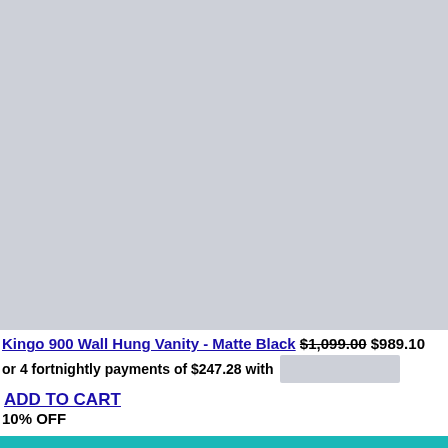[Figure (photo): Product image placeholder - Kingo 900 Wall Hung Vanity Matte Black, top]
Kingo 900 Wall Hung Vanity - Matte Black $1,099.00 $989.10
or 4 fortnightly payments of $247.28 with [payment logo]
ADD TO CART
10% OFF
[Figure (photo): Product image placeholder - second product, bottom]
Cart (0) | Phone | Email